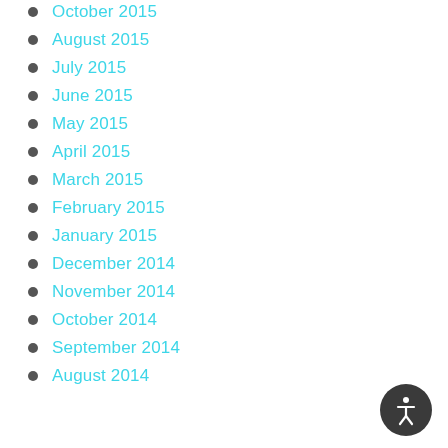October 2015
August 2015
July 2015
June 2015
May 2015
April 2015
March 2015
February 2015
January 2015
December 2014
November 2014
October 2014
September 2014
August 2014
[Figure (illustration): Accessibility icon - a circular dark grey button with a white person/accessibility symbol]